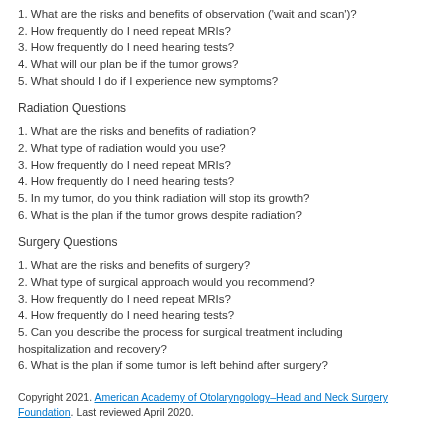1. What are the risks and benefits of observation ('wait and scan')?
2. How frequently do I need repeat MRIs?
3. How frequently do I need hearing tests?
4. What will our plan be if the tumor grows?
5. What should I do if I experience new symptoms?
Radiation Questions
1. What are the risks and benefits of radiation?
2. What type of radiation would you use?
3. How frequently do I need repeat MRIs?
4. How frequently do I need hearing tests?
5. In my tumor, do you think radiation will stop its growth?
6. What is the plan if the tumor grows despite radiation?
Surgery Questions
1. What are the risks and benefits of surgery?
2. What type of surgical approach would you recommend?
3. How frequently do I need repeat MRIs?
4. How frequently do I need hearing tests?
5. Can you describe the process for surgical treatment including hospitalization and recovery?
6. What is the plan if some tumor is left behind after surgery?
Copyright 2021. American Academy of Otolaryngology–Head and Neck Surgery Foundation. Last reviewed April 2020.